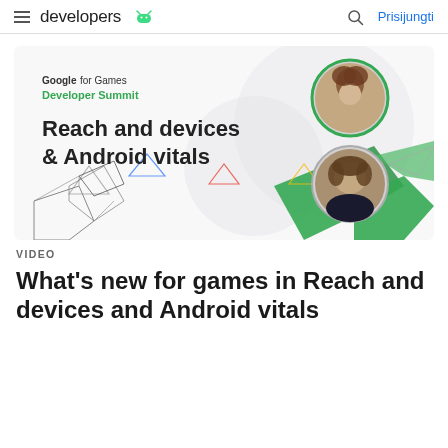developers  |  🔍  Prisijungti
[Figure (illustration): Google for Games Developer Summit thumbnail showing 'Reach and devices & Android vitals' with two speaker portraits and geometric green/white polygon shapes]
VIDEO
What's new for games in Reach and devices and Android vitals